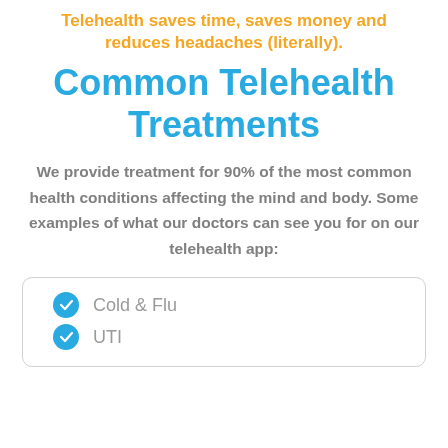Telehealth saves time, saves money and reduces headaches (literally).
Common Telehealth Treatments
We provide treatment for 90% of the most common health conditions affecting the mind and body. Some examples of what our doctors can see you for on our telehealth app:
Cold & Flu
UTI